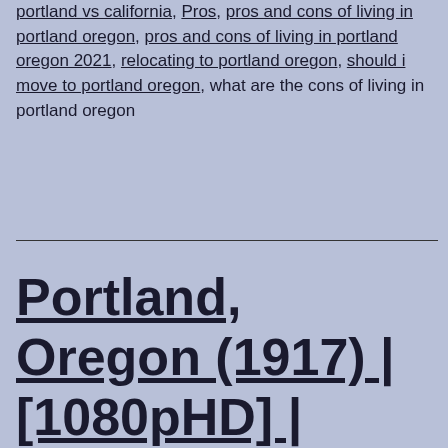portland vs california, Pros, pros and cons of living in portland oregon, pros and cons of living in portland oregon 2021, relocating to portland oregon, should i move to portland oregon, what are the cons of living in portland oregon
Portland, Oregon (1917) | [1080pHD] | Colorized | AI Enhanced